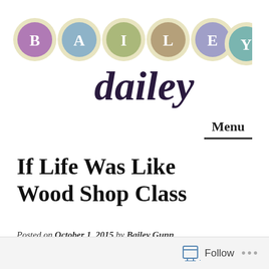[Figure (logo): Bailey Dailey blog logo with colorful lettered circles spelling BAILEY and cursive 'dailey' text]
Menu
If Life Was Like Wood Shop Class
Posted on October 1, 2015 by Bailey Gunn
Follow